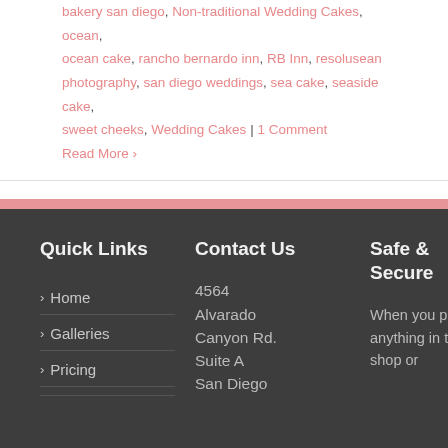bakery san diego, Non-traditional Wedding Cakes, ocean, ocean cake, rancho bernardo inn, RB Inn, resolusean photography, san diego weddings, sea cake, seaside cake, sweet cheeks, Wedding Cakes | 1 Comment
Read More >
Quick Links
Contact Us
Safe & Secure
> Home
> Galleries
> Pricing
4564 Alvarado Canyon Rd. Suite A San Diego
When you pay for anything in the shop or